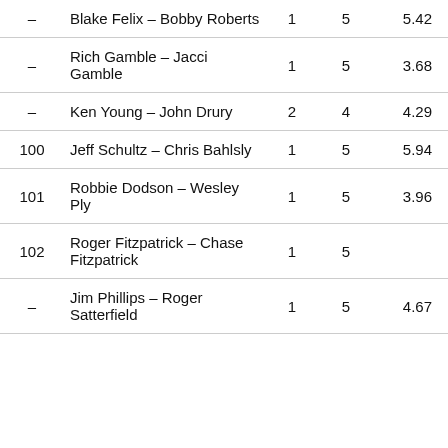| Rank | Name | Col3 | Col4 | Col5 | Col6 | Points |
| --- | --- | --- | --- | --- | --- | --- |
| – | Blake Felix – Bobby Roberts | 1 | 5 | 5.42 | 18.96 | 218 |
| – | Rich Gamble – Jacci Gamble | 1 | 5 | 3.68 | 12.48 | 218 |
| – | Ken Young – John Drury | 2 | 4 | 4.29 | 10.53 | 218 |
| 100 | Jeff Schultz – Chris Bahlsly | 1 | 5 | 5.94 | 17.62 | 217 |
| 101 | Robbie Dodson – Wesley Ply | 1 | 5 | 3.96 | 14.45 | 216 |
| 102 | Roger Fitzpatrick – Chase Fitzpatrick | 1 | 5 |  | 17.24 | 215 |
| – | Jim Phillips – Roger Satterfield | 1 | 5 | 4.67 | 12.02 | 215 |